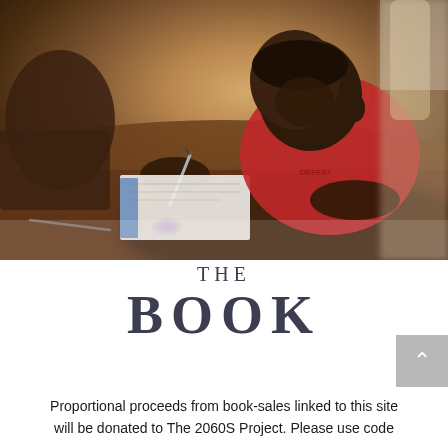[Figure (photo): A close-up photograph of a young African boy in a red shirt writing/studying at a wooden desk, concentrating on his work with a pen in hand. Another student is partially visible on the left side.]
THE BOOK
Proportional proceeds from book-sales linked to this site will be donated to The 2060S Project. Please use code